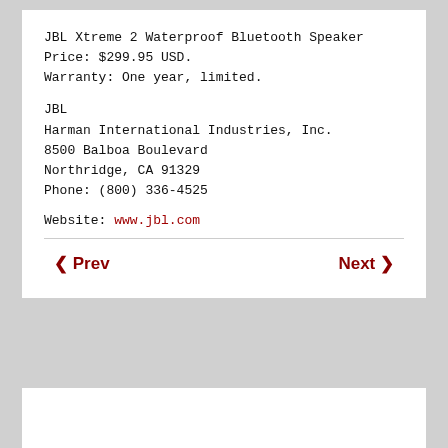JBL Xtreme 2 Waterproof Bluetooth Speaker
Price: $299.95 USD.
Warranty: One year, limited.
JBL
Harman International Industries, Inc.
8500 Balboa Boulevard
Northridge, CA 91329
Phone: (800) 336-4525
Website: www.jbl.com
◀ Prev    Next ▶